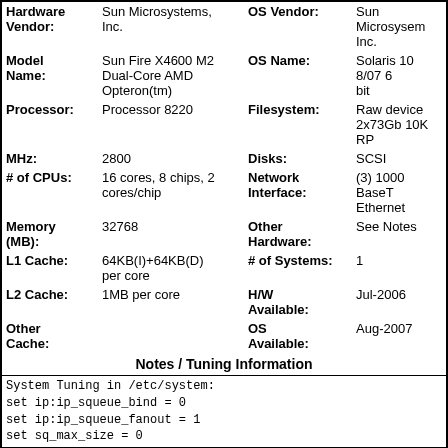| Field | Value | Field | Value |
| --- | --- | --- | --- |
| Hardware Vendor: | Sun Microsystems, Inc. | OS Vendor: | Sun Microsystems, Inc. |
| Model Name: | Sun Fire X4600 M2 Dual-Core AMD Opteron(tm) | OS Name: | Solaris 10 8/07 64 bit |
| Processor: | Processor 8220 | Filesystem: | Raw device 2x73Gb 10K RPM SCSI |
| MHz: | 2800 | Disks: |  |
| # of CPUs: | 16 cores, 8 chips, 2 cores/chip | Network Interface: | (3) 1000 BaseT Ethernet |
| Memory (MB): | 32768 | Other Hardware: | See Notes |
| L1 Cache: | 64KB(I)+64KB(D) per core | # of Systems: | 1 |
| L2 Cache: | 1MB per core | H/W Available: | Jul-2006 |
| Other Cache: |  | OS Available: | Aug-2007 |
Notes / Tuning Information
System Tuning in /etc/system:
set ip:ip_squeue_bind = 0
set ip:ip_squeue_fanout = 1
set sq_max_size = 0